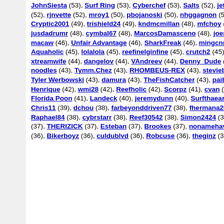JohnSiesta (53), Surf Ring (53), Cyberchef (53), Salts (52), jetskisteve (52), Tracy R. (52), rjnvette (52), mroy1 (50), pbojanoski (50), nhggagnon (50), gstouten (50), Cryptic2001 (49), trishield24 (49), kndmcmillan (48), mfchoy (48), Bear-n-Kelly (48), jusdadrumr (48), cymbal67 (48), MarcosDamasceno (48), joenels (48), biblioreef (47), macaw (46), Unfair Advantage (46), SharkFreak (46), mingcnn (46), hoppy747x (46), Aquaholic (45), lolalola (45), reefinelginfine (45), crutch2 (45), becnel (44), rusted (44), xtreamwife (44), dangelov (44), VAndreev (44), Denny_Dude (44), crazycolt42 (44), noodles (43), Tymm.Chez (43), RHOMBEUS-REX (43), steviebee (43), Toni Cid (43), Tyler Werbowski (43), damura (43), TheFishCatcher (43), paiboon (43), fedor256 (43), Henrique (42), wmi28 (42), Reefholic (42), Scorpz (41), cvan (41), jgrossman (41), Florida Poon (41), Landeck (40), jeremydunn (40), Surfthaearth (39), dixie2oscar (39), Chris11 (39), dchou (38), farbeyonddriven77 (38), fhermana2000 (38), beansbro1 (38), Raphael84 (38), cybrstarr (38), Reef30542 (38), Simon2424 (37), Yvan Reis (37), agreee1 (37), THERIZICK (37), Esteban (37), Brookes (37), nonamehavei (37), darkhelmet1997 (36), Bikerboyz (36), culdublvd (36), Robcuse (36), theginz (36), scorpio79 (36),